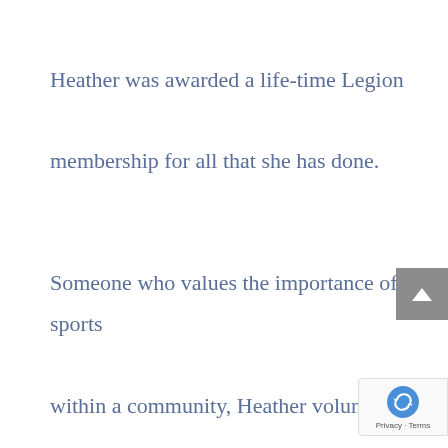Heather was awarded a life-time Legion membership for all that she has done.

Someone who values the importance of sports within a community, Heather volunteered for the Innisfail Curling Club Board of Directors, has presided over the Innisfail Ladies Golf Club multiple times (among other roles) and was the Director of the Innisfail Golf Club for 3 years highlight from her history as an avid golfer was